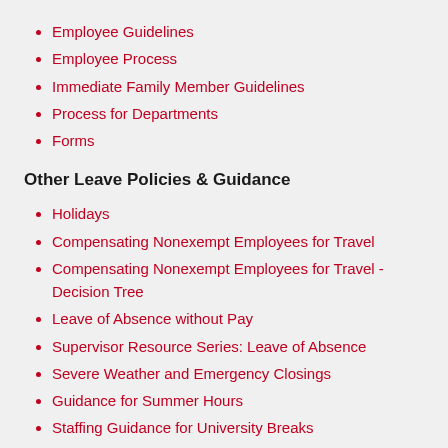Employee Guidelines
Employee Process
Immediate Family Member Guidelines
Process for Departments
Forms
Other Leave Policies & Guidance
Holidays
Compensating Nonexempt Employees for Travel
Compensating Nonexempt Employees for Travel - Decision Tree
Leave of Absence without Pay
Supervisor Resource Series: Leave of Absence
Severe Weather and Emergency Closings
Guidance for Summer Hours
Staffing Guidance for University Breaks
Staffing Guidance for University Breaks Frequently Asked Questions
Jury Duty and Court Services